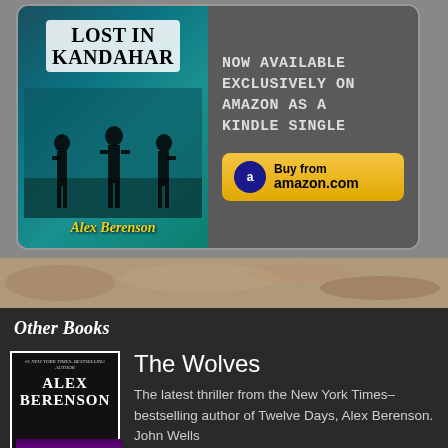[Figure (illustration): Advertisement banner for 'Lost in Kandahar' by Alex Berenson, showing book cover with soldiers image in teal tones, alongside text 'Now available exclusively on Amazon as a Kindle Single' and a yellow 'Buy from amazon.com' button.]
Other Books
[Figure (photo): Book cover thumbnail for 'The Wolves' by Alex Berenson, showing author name in large white serif text on black background with purple/magenta scenic image at bottom.]
The Wolves
The latest thriller from the New York Times–bestselling author of Twelve Days, Alex Berenson. John Wells